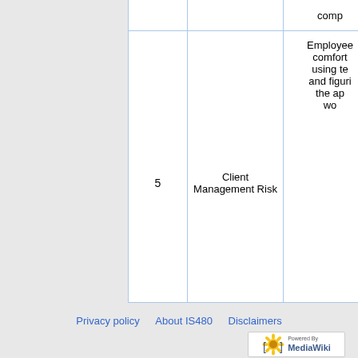|  |  | comp... |
| --- | --- | --- |
| 5 | Client Management Risk | Employee comfort using te... and figuri... the ap... wo... |
Privacy policy   About IS480   Disclaimers